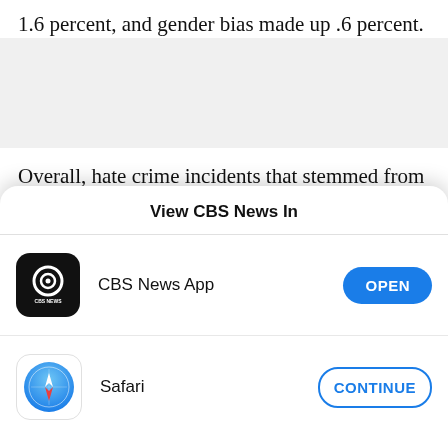1.6 percent, and gender bias made up .6 percent.
[Figure (other): Gray placeholder/advertisement area]
Overall, hate crime incidents that stemmed from religious hatred rose about 23 percent between 2106 and 2017, while hate crimes motivated by racial bias [about 18 percent, and those on LGBT…]
[Figure (screenshot): Mobile app chooser modal overlay: 'View CBS News In' with CBS News App (OPEN button) and Safari (CONTINUE button)]